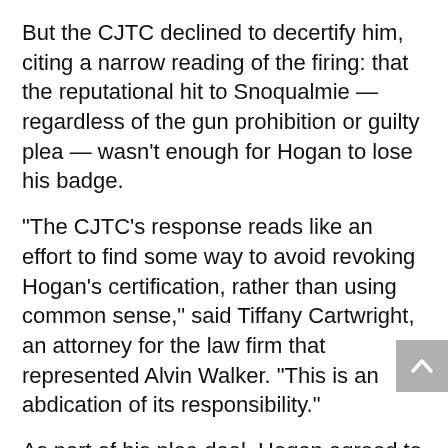But the CJTC declined to decertify him, citing a narrow reading of the firing: that the reputational hit to Snoqualmie — regardless of the gun prohibition or guilty plea — wasn't enough for Hogan to lose his badge.
“The CJTC’s response reads like an effort to find some way to avoid revoking Hogan’s certification, rather than using common sense,” said Tiffany Cartwright, an attorney for the law firm that represented Alvin Walker. “This is an abdication of its responsibility.”
As part of his plea deal, Hogan agreed to not be a police officer for 15 years. He will be eligible again in 2031, having never been decertified.
“I wish we could have revoked him,” Tisha Jones, the CJTC certification manager, said in an interview. “There are some (cases) where I don’t feel the greatest, but there’s a process.”